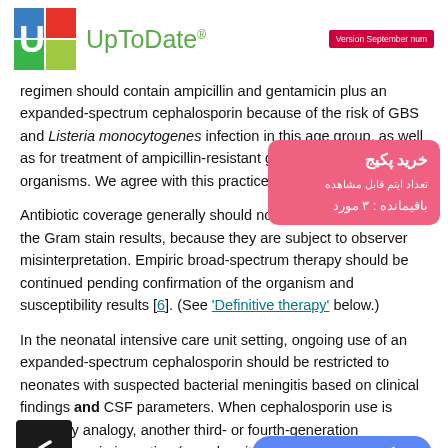UpToDate — Version September num
regimen should contain ampicillin and gentamicin plus an expanded-spectrum cephalosporin because of the risk of GBS and Listeria monocytogenes infection in this age group, as well as for treatment of ampicillin-resistant gram-negative organisms. We agree with this practice.
Antibiotic coverage generally should not be narrowed based on the Gram stain results, because they are subject to observer misinterpretation. Empiric broad-spectrum therapy should be continued pending confirmation of the organism and susceptibility results [6]. (See 'Definitive therapy' below.)
In the neonatal intensive care unit setting, ongoing use of an expanded-spectrum cephalosporin should be restricted to neonates with suspected bacterial meningitis based on clinical findings and CSF parameters. When cephalosporin use is driven by analogy, another third- or fourth-generation cephalosporin is routine (eg, when it is used more broadly for all neonates